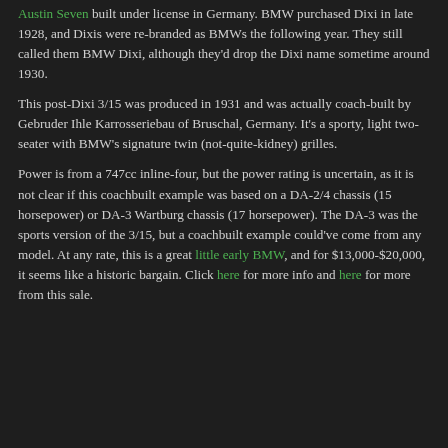Austin Seven built under license in Germany. BMW purchased Dixi in late 1928, and Dixis were re-branded as BMWs the following year. They still called them BMW Dixi, although they'd drop the Dixi name sometime around 1930.
This post-Dixi 3/15 was produced in 1931 and was actually coach-built by Gebruder Ihle Karrosseriebau of Bruschal, Germany. It's a sporty, light two-seater with BMW's signature twin (not-quite-kidney) grilles.
Power is from a 747cc inline-four, but the power rating is uncertain, as it is not clear if this coachbuilt example was based on a DA-2/4 chassis (15 horsepower) or DA-3 Wartburg chassis (17 horsepower). The DA-3 was the sports version of the 3/15, but a coachbuilt example could've come from any model. At any rate, this is a great little early BMW, and for $13,000-$20,000, it seems like a historic bargain. Click here for more info and here for more from this sale.